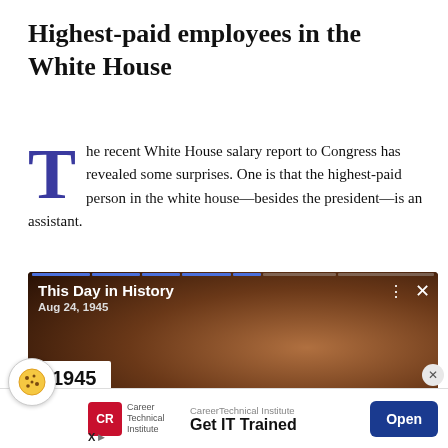Highest-paid employees in the White House
The recent White House salary report to Congress has revealed some surprises. One is that the highest-paid person in the white house—besides the president—is an assistant.
[Figure (screenshot): Video card overlay showing 'This Day in History Aug 24, 1945' with year badge '1945' and caption 'Vince McMahon, the American' with progress bar segments at top]
[Figure (other): Advertisement bar: CareerTechnical Institute 'Get IT Trained' with Open button]